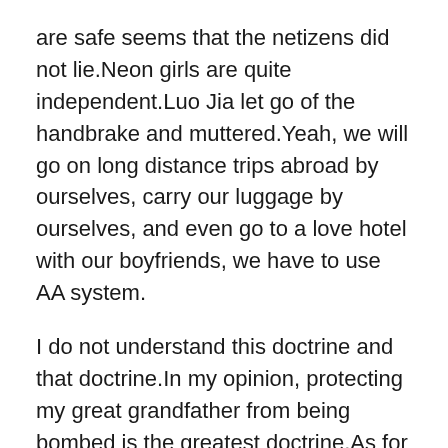are safe seems that the netizens did not lie.Neon girls are quite independent.Luo Jia let go of the handbrake and muttered.Yeah, we will go on long distance trips abroad by ourselves, carry our luggage by ourselves, and even go to a love hotel with our boyfriends, we have to use AA system.
I do not understand this doctrine and that doctrine.In my opinion, protecting my great grandfather from being bombed is the greatest doctrine.As for someone who opposes it, Legend Male Enhancement Pills what male enhancement pills are safe let them oppose it.If the objection is useful, we still spend so much money.What the hell are you doing with planes and cannons The live broadcast room was borrowed from Dragon TV.
Under the Huangpu River, The bodies of those drug dealers and terrorists are almost out of place.